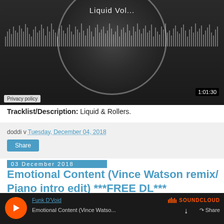[Figure (screenshot): SoundCloud embedded player showing a music mix titled 'Liquid Vol...' with waveform visualization and a duration timestamp of 1:01:30. A 'Privacy policy' label is visible in the lower left.]
Tracklist/Description: Liquid & Rollers.
doddi v Tuesday, December 04, 2018
Share
03 December 2018
Emotional Content (Vince Watson remix/ Piano intro edit) ***FREE DL***
[Figure (screenshot): SoundCloud embedded player for 'Emotional Content (Vince Watso...' by Funk D'Void, showing play button, download and share icons, and the SoundCloud logo.]